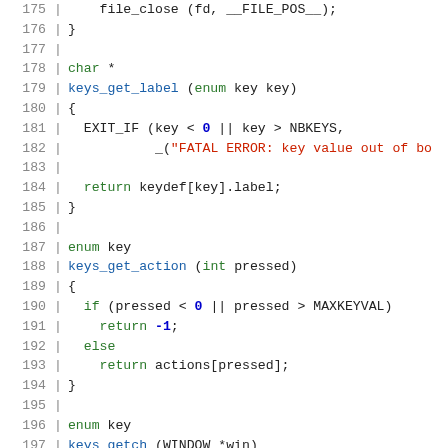[Figure (screenshot): Source code listing in C showing syntax-highlighted code lines 175-201, with line numbers on the left, featuring functions keys_get_label, keys_get_action, and keys_getch with green keywords, blue function names, red string literals, and dark numbers.]